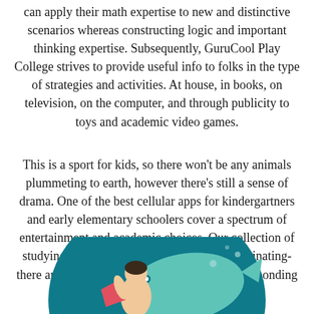can apply their math expertise to new and distinctive scenarios whereas constructing logic and important thinking expertise. Subsequently, GuruCool Play College strives to provide useful info to folks in the type of strategies and activities. At house, in books, on television, on the computer, and through publicity to toys and academic video games.
This is a sport for kids, so there won't be any animals plummeting to earth, however there's still a sense of drama. One of the best cellular apps for kindergartners and early elementary schoolers cover a spectrum of entertainment and academic choices. Our collection of studying video games are interactive and fascinating- there are strikingly beautiful photos with corresponding names to help construct vocabulary.
[Figure (illustration): Colorful illustration showing a child figure with a large teal/mint colored fish or whale shape on a dark teal circular background, with pink/coral accent shapes.]